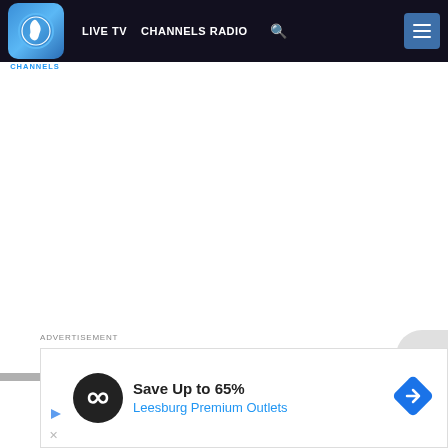[Figure (screenshot): Channels TV website navigation bar with logo, LIVE TV, CHANNELS RADIO, search icon, and hamburger menu button on dark navy background]
[Figure (screenshot): White content area below navigation bar, mostly blank]
ADVERTISEMENT
[Figure (screenshot): Advertisement banner showing a circular black logo with infinity-like symbol, text 'Save Up to 65%' in bold and 'Leesburg Premium Outlets' in blue, with a blue diamond navigation icon on the right]